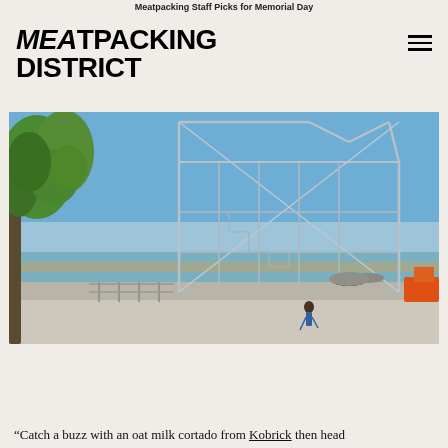Meatpacking Staff Picks for Memorial Day
[Figure (logo): Meatpacking District logo in bold black uppercase text]
[Figure (photo): Outdoor waterfront scene with large steel sculpture outline in shape of a building/arrow, trees on left, blue sky, Hudson River and construction in background, person walking on promenade]
“Catch a buzz with an oat milk cortado from Kobrick then head